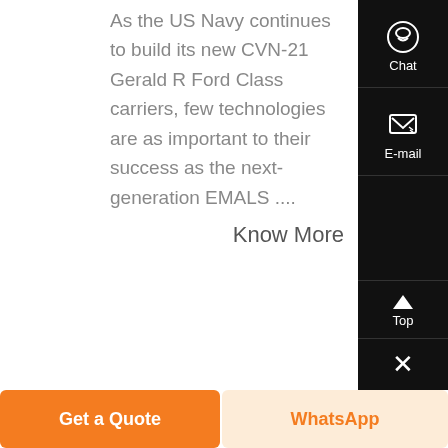As the US Navy continues to build its new CVN-21 Gerald R Ford Class carriers, few technologies are as important to their success as the next-generation EMALS ....
Know More